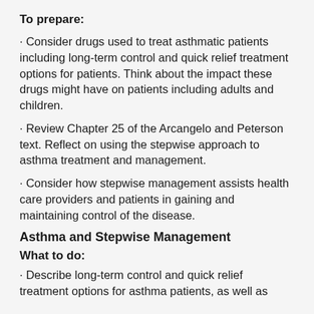To prepare:
· Consider drugs used to treat asthmatic patients including long-term control and quick relief treatment options for patients. Think about the impact these drugs might have on patients including adults and children.
· Review Chapter 25 of the Arcangelo and Peterson text. Reflect on using the stepwise approach to asthma treatment and management.
· Consider how stepwise management assists health care providers and patients in gaining and maintaining control of the disease.
Asthma and Stepwise Management
What to do:
· Describe long-term control and quick relief treatment options for asthma patients, as well as